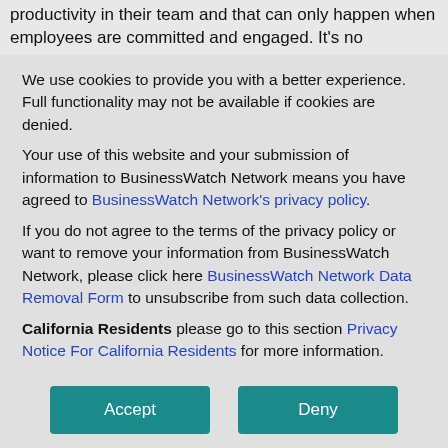productivity in their team and that can only happen when employees are committed and engaged. It's no
We use cookies to provide you with a better experience. Full functionality may not be available if cookies are denied.
Your use of this website and your submission of information to BusinessWatch Network means you have agreed to BusinessWatch Network’s privacy policy.
If you do not agree to the terms of the privacy policy or want to remove your information from BusinessWatch Network, please click here BusinessWatch Network Data Removal Form to unsubscribe from such data collection.
California Residents please go to this section Privacy Notice For California Residents for more information.
Accept
Deny